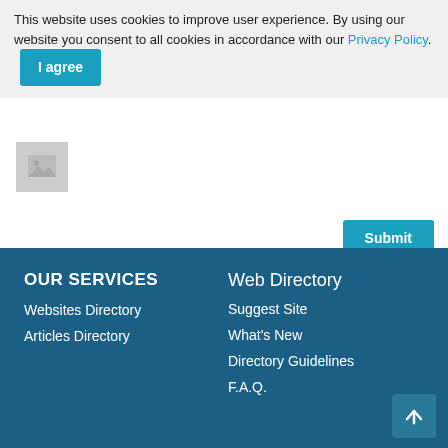This website uses cookies to improve user experience. By using our website you consent to all cookies in accordance with our Privacy Policy.  I agree
[Figure (illustration): Placeholder image icon (grey box with image icon)]
Submit
OUR SERVICES
Websites Directory
Articles Directory
Web Directory
Suggest Site
What's New
Directory Guidelines
F.A.Q.